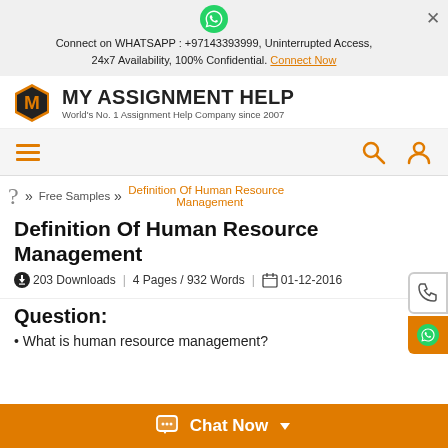Connect on WHATSAPP : +97143393999, Uninterrupted Access, 24x7 Availability, 100% Confidential. Connect Now
[Figure (logo): My Assignment Help logo — orange hexagon with M, text MY ASSIGNMENT HELP, World's No. 1 Assignment Help Company since 2007]
[Figure (other): Navigation bar with hamburger menu icon (orange), search icon, and user/profile icon]
Free Samples » Definition Of Human Resource Management
Definition Of Human Resource Management
203 Downloads | 4 Pages / 932 Words | 01-12-2016
Question:
What is human resource management?
Chat Now